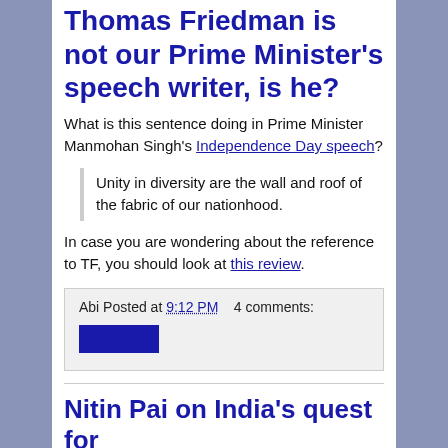Thomas Friedman is not our Prime Minister's speech writer, is he?
What is this sentence doing in Prime Minister Manmohan Singh's Independence Day speech?
Unity in diversity are the wall and roof of the fabric of our nationhood.
In case you are wondering about the reference to TF, you should look at this review.
Abi Posted at 9:12 PM  4 comments:
Nitin Pai on India's quest for